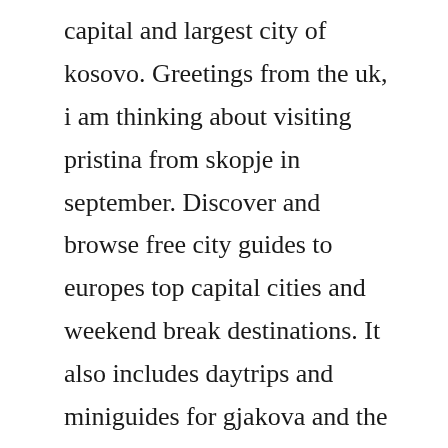capital and largest city of kosovo. Greetings from the uk, i am thinking about visiting pristina from skopje in september. Discover and browse free city guides to europes top capital cities and weekend break destinations. It also includes daytrips and miniguides for gjakova and the ski resort of brezovica. Pristina s capitals should be used exclusively as initials. We have a huge collection of around 72,000 truetype and opentype free fonts, checkout more on.
It is a calligraphic typeface that displays all